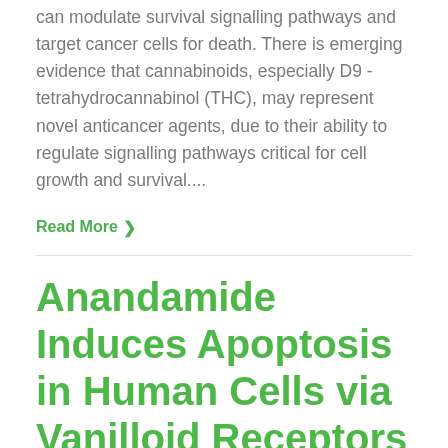can modulate survival signalling pathways and target cancer cells for death. There is emerging evidence that cannabinoids, especially D9 - tetrahydrocannabinol (THC), may represent novel anticancer agents, due to their ability to regulate signalling pathways critical for cell growth and survival....
Read More ›
Anandamide Induces Apoptosis in Human Cells via Vanilloid Receptors
endocannabinoid anandamide (AEA) is shown to induce apoptotic bodies formation and DNA